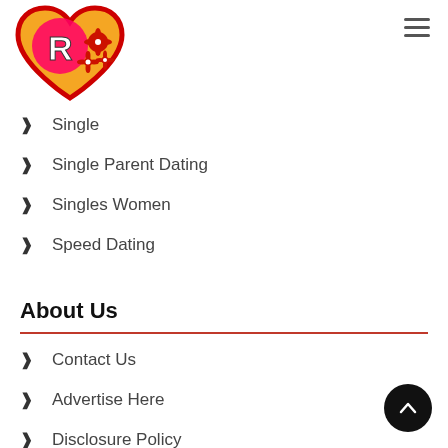[Figure (logo): Dating website logo: orange/red heart shape with a stylized pink letter R inside a circle, with red flower decorations]
Single
Single Parent Dating
Singles Women
Speed Dating
About Us
Contact Us
Advertise Here
Disclosure Policy